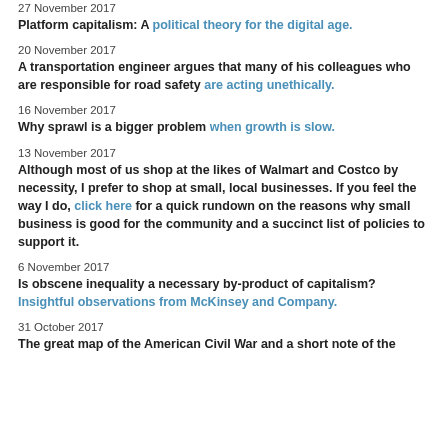27 November 2017
Platform capitalism: A political theory for the digital age.
20 November 2017
A transportation engineer argues that many of his colleagues who are responsible for road safety are acting unethically.
16 November 2017
Why sprawl is a bigger problem when growth is slow.
13 November 2017
Although most of us shop at the likes of Walmart and Costco by necessity, I prefer to shop at small, local businesses. If you feel the way I do, click here for a quick rundown on the reasons why small business is good for the community and a succinct list of policies to support it.
6 November 2017
Is obscene inequality a necessary by-product of capitalism? Insightful observations from McKinsey and Company.
31 October 2017
The great map of the American Civil War and a short note of the...